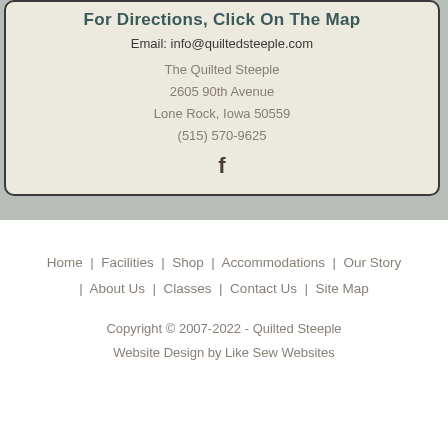For Directions, Click On The Map
Email: info@quiltedsteeple.com
The Quilted Steeple
2605 90th Avenue
Lone Rock, Iowa 50559
(515) 570-9625
[Figure (logo): Facebook icon (f)]
Home | Facilities | Shop | Accommodations | Our Story | About Us | Classes | Contact Us | Site Map
Copyright © 2007-2022 - Quilted Steeple
Website Design by Like Sew Websites